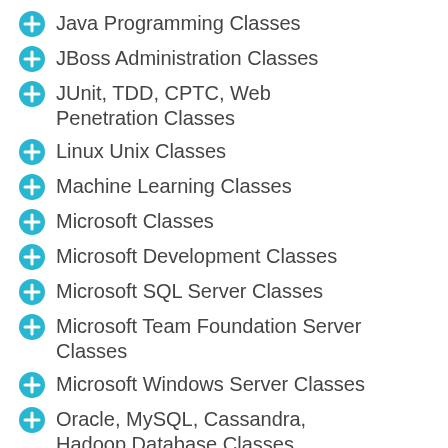Java Programming Classes
JBoss Administration Classes
JUnit, TDD, CPTC, Web Penetration Classes
Linux Unix Classes
Machine Learning Classes
Microsoft Classes
Microsoft Development Classes
Microsoft SQL Server Classes
Microsoft Team Foundation Server Classes
Microsoft Windows Server Classes
Oracle, MySQL, Cassandra, Hadoop Database Classes
Perl Programming Classes